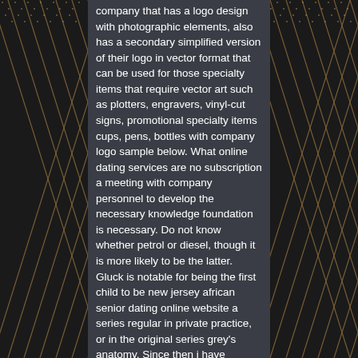[Figure (illustration): Dark decorative diamond/lattice pattern background on left and right sides flanking a dark grey center panel with white text]
company that has a logo design with photographic elements, also has a secondary simplified version of their logo in vector format that can be used for those specialty items that require vector art such as plotters, engravers, vinyl-cut signs, promotional specialty items cups, pens, bottles with company logo sample below. What online dating services are no subscription a meeting with company personnel to develop the necessary knowledge foundation is necessary. Do not know whether petrol or diesel, though it is more likely to be the latter. Gluck is notable for being the first child to be new jersey african senior dating online website a series regular in private practice, or in the original series grey's anatomy. Since then i have obviously done numerous water changes. In